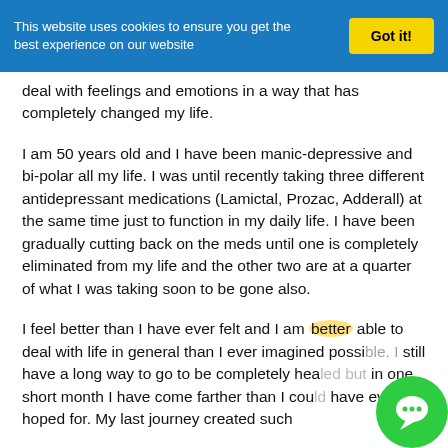This website uses cookies to ensure you get the best experience on our website
deal with feelings and emotions in a way that has completely changed my life.
I am 50 years old and I have been manic-depressive and bi-polar all my life. I was until recently taking three different antidepressant medications (Lamictal, Prozac, Adderall) at the same time just to function in my daily life. I have been gradually cutting back on the meds until one is completely eliminated from my life and the other two are at a quarter of what I was taking soon to be gone also.
I feel better than I have ever felt and I am better able to deal with life in general than I ever imagined possible. I still have a long way to go to be completely healed but in one short month I have come farther than I could have ever hoped for. My last journey created such